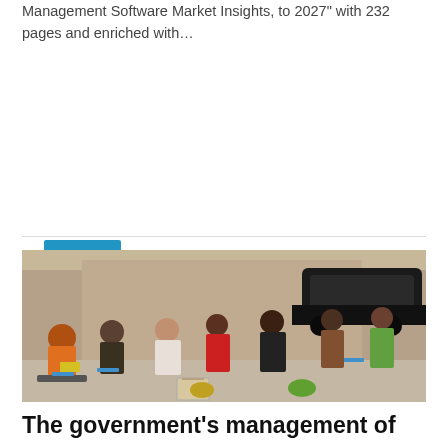Management Software Market Insights, to 2027" with 232 pages and enriched with…
Read More
[Figure (photo): Photo of a group of people, mostly women in colorful African attire, seated on chairs outdoors in front of a building. A dark SUV is parked in the background. People are seated in a socially distanced arrangement.]
The government's management of